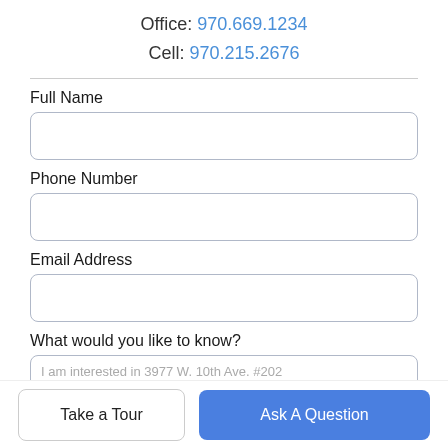Office: 970.669.1234
Cell: 970.215.2676
Full Name
Phone Number
Email Address
What would you like to know?
I am interested in 3977 W. 10th Ave. #202
Take a Tour
Ask A Question